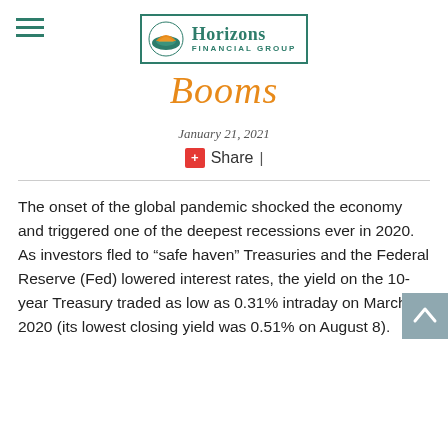Horizons Financial Group
Booms
January 21, 2021
Share |
The onset of the global pandemic shocked the economy and triggered one of the deepest recessions ever in 2020. As investors fled to “safe haven” Treasuries and the Federal Reserve (Fed) lowered interest rates, the yield on the 10-year Treasury traded as low as 0.31% intraday on March 9, 2020 (its lowest closing yield was 0.51% on August 8).